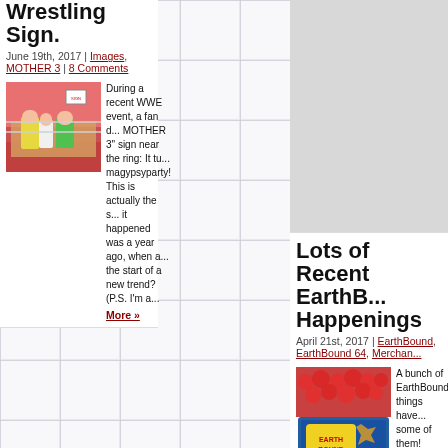Wrestling Sign.
June 19th, 2017 | Images, MOTHER 3 | 8 Comments
[Figure (photo): WWE wrestling event photo showing wrestlers in colorful outfits near the ring]
During a recent WWE event, a fan d... MOTHER 3" sign near the ring: It tu... magypsyparty! This is actually the s... it happened was a year ago, when a... the start of a new trend? (P.S. I'm a...
More »
Lots of Recent EarthB... Happenings
April 21st, 2017 | EarthBound, EarthBound 64, Merchan...
[Figure (photo): Photo of tomatoes and an EarthBound promotional display board]
A bunch of EarthBound things have... some of them! Lasgna Cat is back, ... some MOTHER 3 stuff: One of thos... auction in Japan. The starting bid o... went without any bids at all. A semi-... eventually sold... Read More »